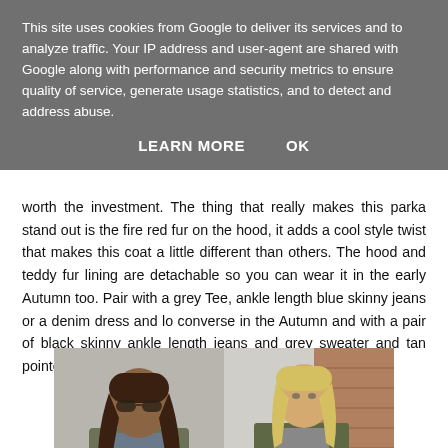This site uses cookies from Google to deliver its services and to analyze traffic. Your IP address and user-agent are shared with Google along with performance and security metrics to ensure quality of service, generate usage statistics, and to detect and address abuse.
LEARN MORE    OK
worth the investment. The thing that really makes this parka stand out is the fire red fur on the hood, it adds a cool style twist that makes this coat a little different than others. The hood and teddy fur lining are detachable so you can wear it in the early Autumn too. Pair with a grey Tee, ankle length blue skinny jeans or a denim dress and lo converse in the Autumn and with a pair of black skinny ankle length jeans and grey sweater and tan pointed ankle boots in the winter. Love these looks below..
[Figure (photo): Two side-by-side fashion photos of women wearing olive/khaki parkas. Left photo shows a brunette woman with sunglasses wearing a grey-blue top and olive jacket. Right photo shows a blonde woman wearing a grey sweater and dark trousers with an olive parka coat.]